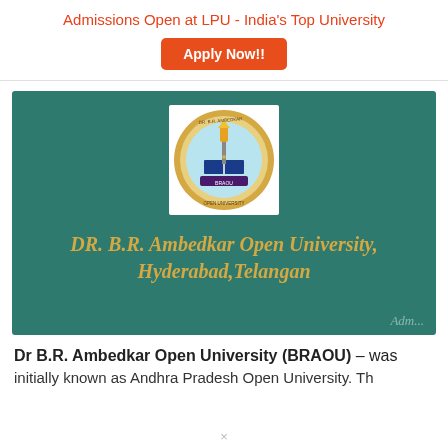Admissions Open at LPU - India's Top University
Apply Now!!
[Figure (photo): DR. B.R. Ambedkar Open University, Hyderabad, Telangan - green background banner with university seal/logo at top and university name in yellow-gold italic text]
Dr B.R. Ambedkar Open University (BRAOU) – was initially known as Andhra Pradesh Open University. Th...